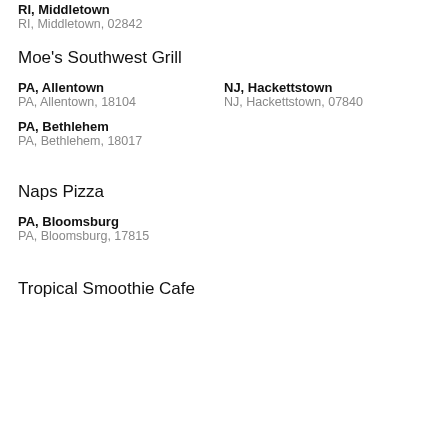RI, Middletown
RI, Middletown, 02842
Moe's Southwest Grill
PA, Allentown
PA, Allentown, 18104
NJ, Hackettstown
NJ, Hackettstown, 07840
PA, Bethlehem
PA, Bethlehem, 18017
Naps Pizza
PA, Bloomsburg
PA, Bloomsburg, 17815
Tropical Smoothie Cafe